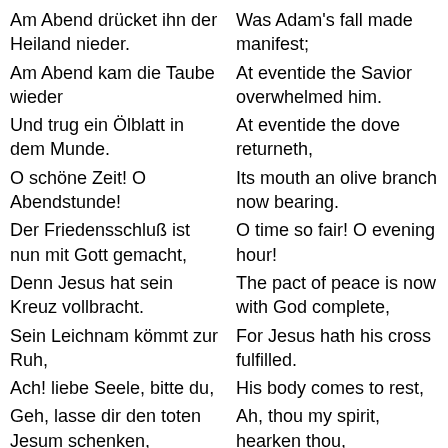Am Abend drücket ihn der Heiland nieder.
Am Abend kam die Taube wieder
Und trug ein Ölblatt in dem Munde.
O schöne Zeit! O Abendstunde!
Der Friedensschluß ist nun mit Gott gemacht,
Denn Jesus hat sein Kreuz vollbracht.
Sein Leichnam kömmt zur Ruh,
Ach! liebe Seele, bitte du,
Geh, lasse dir den toten Jesum schenken,
O heilsames, o köstlichs
Was Adam's fall made manifest;
At eventide the Savior overwhelmed him.
At eventide the dove returneth,
Its mouth an olive branch now bearing.
O time so fair! O evening hour!
The pact of peace is now with God complete,
For Jesus hath his cross fulfilled.
His body comes to rest,
Ah, thou my spirit, hearken thou,
Go, let them give thee Jesus'